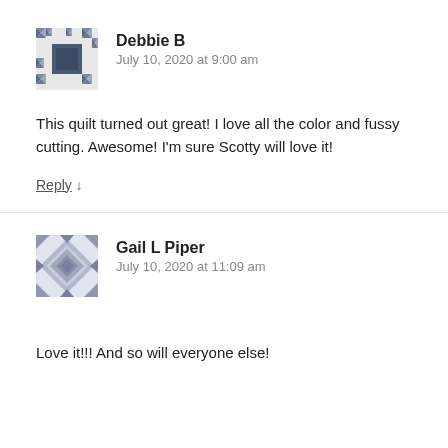[Figure (illustration): Avatar icon for Debbie B — a square geometric pattern in dark grey/blue with a mosaic/quilt tile design]
Debbie B
July 10, 2020 at 9:00 am
This quilt turned out great! I love all the color and fussy cutting. Awesome! I'm sure Scotty will love it!
Reply ↓
[Figure (illustration): Avatar icon for Gail L Piper — a square geometric pattern in light blue/grey with a diamond/chevron quilt tile design]
Gail L Piper
July 10, 2020 at 11:09 am
Love it!!! And so will everyone else!